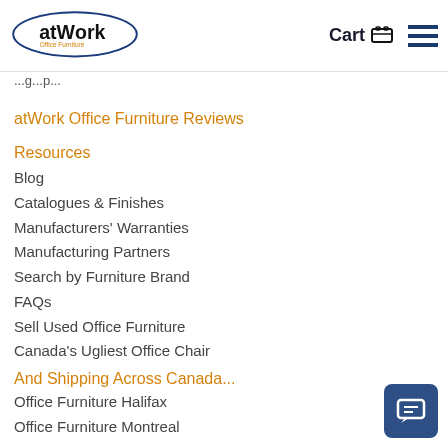[Figure (logo): atWork Office Furniture logo — oval with 'atWork' in bold and 'Office Furniture' below in orange]
Cart 🛒 ☰
...g...p...
atWork Office Furniture Reviews
Resources
Blog
Catalogues & Finishes
Manufacturers' Warranties
Manufacturing Partners
Search by Furniture Brand
FAQs
Sell Used Office Furniture
Canada's Ugliest Office Chair
And Shipping Across Canada...
Office Furniture Halifax
Office Furniture Montreal